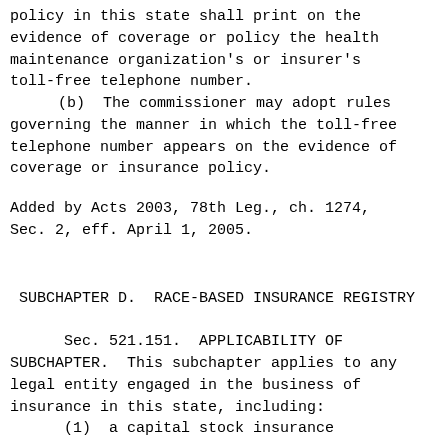policy in this state shall print on the evidence of coverage or policy the health maintenance organization's or insurer's toll-free telephone number.
    (b)  The commissioner may adopt rules governing the manner in which the toll-free telephone number appears on the evidence of coverage or insurance policy.
Added by Acts 2003, 78th Leg., ch. 1274, Sec. 2, eff. April 1, 2005.
SUBCHAPTER D.  RACE-BASED INSURANCE REGISTRY
Sec. 521.151.  APPLICABILITY OF SUBCHAPTER.  This subchapter applies to any legal entity engaged in the business of insurance in this state, including:
      (1)  a capital stock insurance